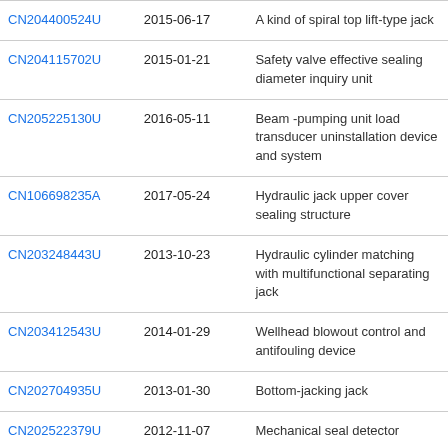| Patent | Date | Description |
| --- | --- | --- |
| CN204400524U | 2015-06-17 | A kind of spiral top lift-type jack |
| CN204115702U | 2015-01-21 | Safety valve effective sealing diameter inquiry unit |
| CN205225130U | 2016-05-11 | Beam -pumping unit load transducer uninstallation device and system |
| CN106698235A | 2017-05-24 | Hydraulic jack upper cover sealing structure |
| CN203248443U | 2013-10-23 | Hydraulic cylinder matching with multifunctional separating jack |
| CN203412543U | 2014-01-29 | Wellhead blowout control and antifouling device |
| CN202704935U | 2013-01-30 | Bottom-jacking jack |
| CN202522379U | 2012-11-07 | Mechanical seal detector |